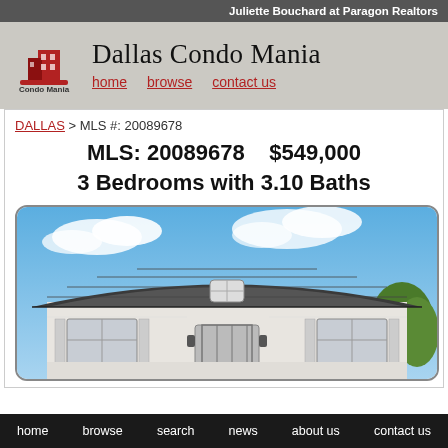Juliette Bouchard at Paragon Realtors
Dallas Condo Mania
home   browse   contact us
DALLAS > MLS #: 20089678
MLS: 20089678   $549,000  3 Bedrooms with 3.10 Baths
[Figure (photo): Exterior photo of a white brick house with a dark shingled mansard-style roof, shuttered windows, ornamental iron door, and blue sky with clouds in background.]
home   browse   search   news   about us   contact us